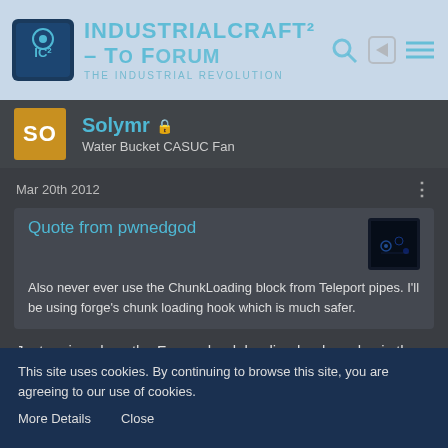IndustrialCraft² - The Forum · The Industrial Revolution
SO
Solymr 🔒
Water Bucket CASUC Fan
Mar 20th 2012
Quote from pwnedgod

Also never ever use the ChunkLoading block from Teleport pipes. I'll be using forge's chunk loading hook which is much safer.
Just curious how the Forge chunk loading hook works, is there any way to use this to force other chunks to stay
This site uses cookies. By continuing to browse this site, you are agreeing to our use of cookies.

More Details   Close